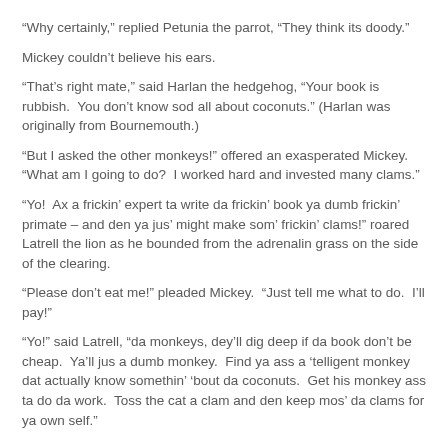“Why certainly,” replied Petunia the parrot, “They think its doody.”
Mickey couldn’t believe his ears.
“That’s right mate,” said Harlan the hedgehog, “Your book is rubbish.  You don’t know sod all about coconuts.” (Harlan was originally from Bournemouth.)
“But I asked the other monkeys!” offered an exasperated Mickey.  “What am I going to do?  I worked hard and invested many clams.”
“Yo!  Ax a frickin’ expert ta write da frickin’ book ya dumb frickin’ primate – and den ya jus’ might make som’ frickin’ clams!” roared Latrell the lion as he bounded from the adrenalin grass on the side of the clearing.
“Please don’t eat me!” pleaded Mickey.  “Just tell me what to do.  I’ll pay!”
“Yo!” said Latrell, “da monkeys, dey’ll dig deep if da book don’t be cheap.  Ya’ll jus a dumb monkey.  Find ya ass a ‘telligent monkey dat actually know somethin’ ‘bout da coconuts.  Get his monkey ass ta do da work.  Toss the cat a clam and den keep mos’ da clams for ya own self.”